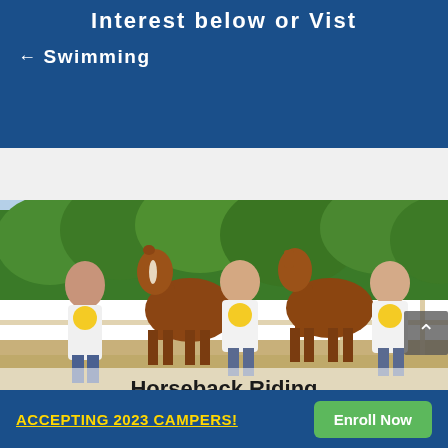Interest below or Vist
← Swimming
[Figure (photo): Three girls in Riverview camp t-shirts standing with two brown horses in an outdoor riding ring with trees in the background. Caption overlay reads 'Horseback Riding'.]
Horseback Riding
ACCEPTING 2023 CAMPERS!
Enroll Now